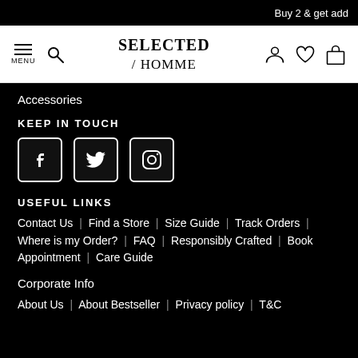Buy 2 & get add
[Figure (logo): SELECTED / HOMME logo with menu, search, account, wishlist and cart icons]
Accessories
KEEP IN TOUCH
[Figure (infographic): Facebook, Twitter, and Instagram social media icons in white bordered boxes on black background]
USEFUL LINKS
Contact Us | Find a Store | Size Guide | Track Orders | Where is my Order? | FAQ | Responsibly Crafted | Book Appointment | Care Guide
Corporate Info
About Us | About Bestseller | Privacy policy | T&C